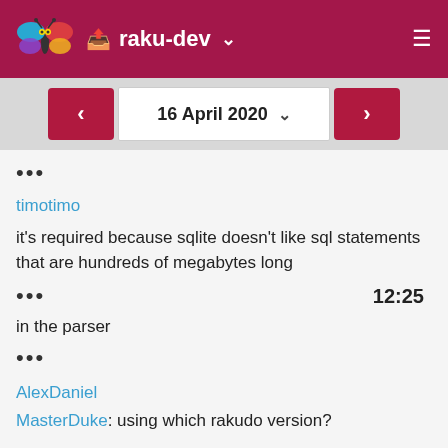raku-dev
16 April 2020
•••
timotimo
it's required because sqlite doesn't like sql statements that are hundreds of megabytes long
••• 12:25
in the parser
•••
AlexDaniel
MasterDuke: using which rakudo version?